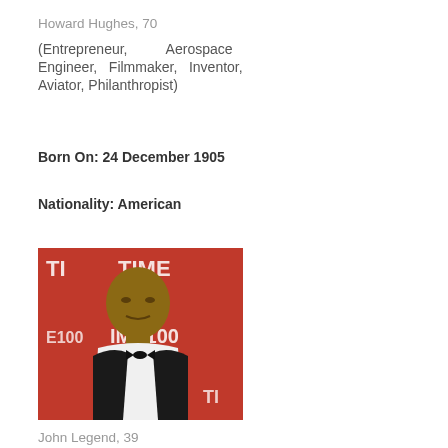Howard Hughes, 70
(Entrepreneur, Aerospace Engineer, Filmmaker, Inventor, Aviator, Philanthropist)
Born On: 24 December 1905
Nationality: American
[Figure (photo): Photo of John Legend at TIME 100 event, red background with TIME 100 logos, man in black tuxedo with bow tie]
John Legend, 39
(Singer)
Born On: 28 December 1978